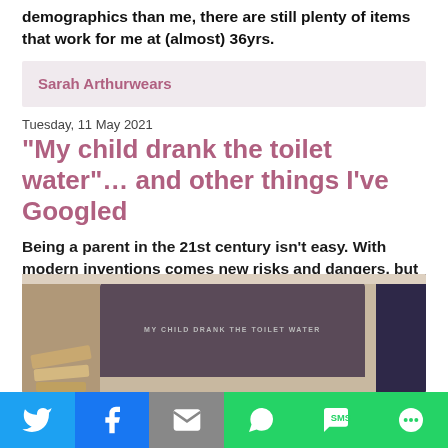demographics than me, there are still plenty of items that work for me at (almost) 36yrs.
Sarah Arthurwears
Tuesday, 11 May 2021
"My child drank the toilet water"… and other things I've Googled
Being a parent in the 21st century isn't easy. With modern inventions comes new risks and dangers, but there is one thing we have that our parents before us didn't: Google.
[Figure (photo): Photo of a laptop on a shelf with text on screen reading 'My child drank the toilet water', a book on the right side and shelving items on the left]
[Figure (infographic): Social media share bar with Twitter, Facebook, Email, WhatsApp, SMS, and More buttons]